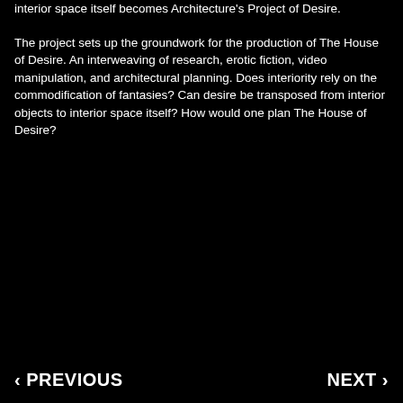interior space itself becomes Architecture's Project of Desire.
The project sets up the groundwork for the production of The House of Desire. An interweaving of research, erotic fiction, video manipulation, and architectural planning. Does interiority rely on the commodification of fantasies? Can desire be transposed from interior objects to interior space itself? How would one plan The House of Desire?
< PREVIOUS   NEXT >